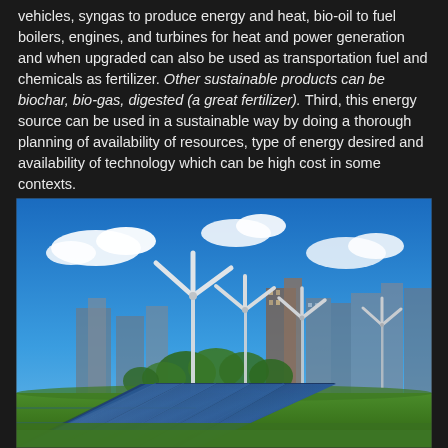vehicles, syngas to produce energy and heat, bio-oil to fuel boilers, engines, and turbines for heat and power generation and when upgraded can also be used as transportation fuel and chemicals as fertilizer. Other sustainable products can be biochar, bio-gas, digested (a great fertilizer). Third, this energy source can be used in a sustainable way by doing a thorough planning of availability of resources, type of energy desired and availability of technology which can be high cost in some contexts.
[Figure (photo): Photograph of wind turbines and solar panels in the foreground with a city skyline and blue sky with clouds in the background, and green grass at the bottom.]